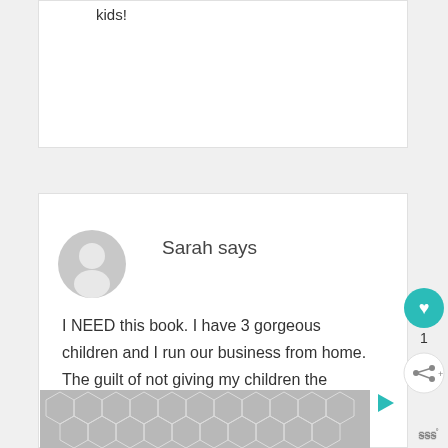kids!
Sarah says
I NEED this book. I have 3 gorgeous children and I run our business from home. The guilt of not giving my children the complete attention they need because of my disorganision is killing me. I'm sick of hearing myself
[Figure (illustration): Grey circular avatar placeholder icon with user silhouette]
[Figure (illustration): Teal circular heart like button with count 1 and share button below]
[Figure (illustration): Advertisement banner with grey hexagonal pattern and play button icon]